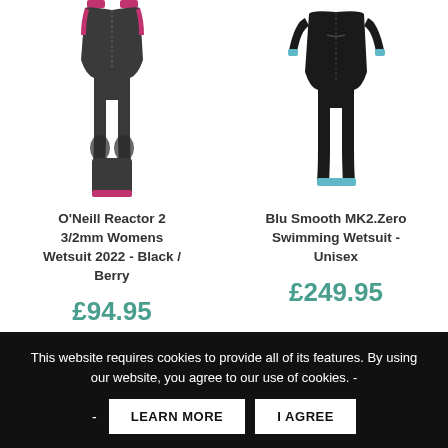[Figure (photo): O'Neill Reactor 2 3/2mm Womens Wetsuit 2022 - Black / Berry product image, showing a dark grey wetsuit with pink/berry accents]
O'Neill Reactor 2 3/2mm Womens Wetsuit 2022 - Black / Berry
£94.95
[Figure (photo): Blu Smooth MK2.Zero Swimming Wetsuit - Unisex product image, showing a full black wetsuit with blue accents]
Blu Smooth MK2.Zero Swimming Wetsuit - Unisex
£249.95
This website requires cookies to provide all of its features. By using our website, you agree to our use of cookies. -
- LEARN MORE   I AGREE